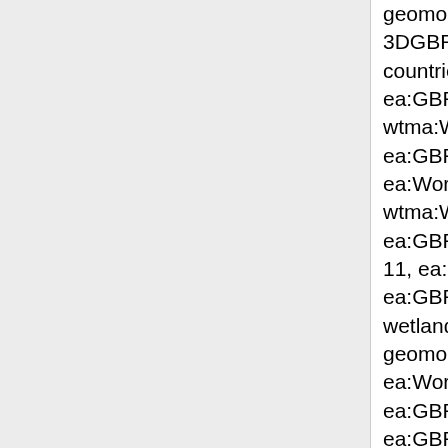geomorph_Coralsea-trough, GBR_JCU_3DGBR_Land-and-sea, ea:World_NED_10m-countries, ea:AU_GA_Topo2M5-2003_Of ea:GBR_UQ_Inshore-pesticides_PSIIHe wtma:WT_WTMA_SpotHeight-250k_Mec ea:GBR_GBRMPA_Designated-shipping- ea:World_NED_10m-cities, wtma:WT_WTMA_WTMaps-2008_Geolo ea:GBR_UQ_Inshore-pesticides_AvWetF 11, ea:GBR_AIMS_BRUVS_Let-minis, ea:GBR_AIMS_BRUVS_Lut-erytpt, QLD: wetlands (DEEDI), ea:GBR_JCU_3DGBR geomorph_QLD-GBRWHA-CSCZ, ea:World_NED_NE2, GBR: Dry reef (GBI ea:GBR_JCU_Bathymetry-3DGBR_TVU, ea:GBR_GBRMPA_Plans-of-management_Hinchinbrook, QLD: Flood (JCU), wtma:WT_WTMA_Mountain, GBR Shipping Areas (GBRMPA), ea:GBR_AIMS_BRUVS_Lut-seba, ea:GBR_JCU_3DGBR-geomorph_Corals ea:AU_GA_Topo2M5-2003_Spot-heights ea:GBR_AIMS_BRUVS_Ple-leopus, ea:GBR_JCU_Bathymetry-3DGBR_Hillsh ea:GBR_UQ_Inshore-pesticides_AvDryP ea:GBR_JCU_3DGBR-geomorph_GBR